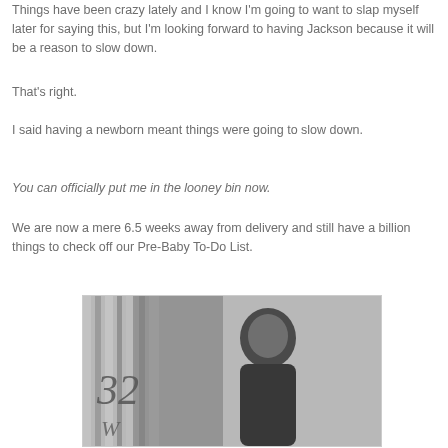Things have been crazy lately and I know I'm going to want to slap myself later for saying this, but I'm looking forward to having Jackson because it will be a reason to slow down.
That's right.
I said having a newborn meant things were going to slow down.
You can officially put me in the looney bin now.
We are now a mere 6.5 weeks away from delivery and still have a billion things to check off our Pre-Baby To-Do List.
[Figure (photo): Black and white photo of a woman with dark hair smiling, with the number 32 visible in decorative script in the lower left corner of the image, background appears to be an interior setting with vertical elements.]